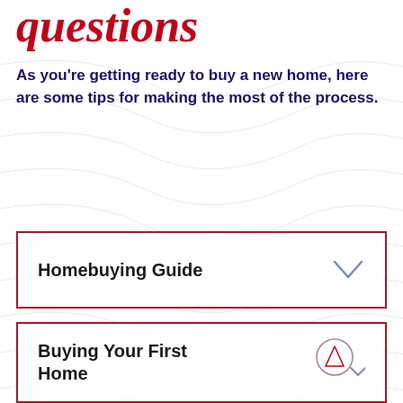questions
As you're getting ready to buy a new home, here are some tips for making the most of the process.
Homebuying Guide
Buying Your First Home